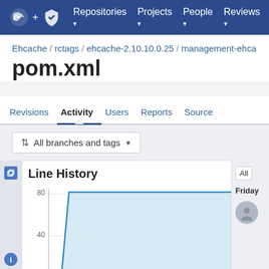Repositories ▾  Projects ▾  People ▾  Reviews ▾
Ehcache / rctags / ehcache-2.10.10.0.25 / management-ehca...
pom.xml
Revisions  Activity  Users  Reports  Source
All branches and tags
[Figure (area-chart): Area chart showing line history of pom.xml. Y-axis shows values 0, 40, 80. The line jumps sharply from 0 to approximately 90 at the first data point, then remains flat across all subsequent time points.]